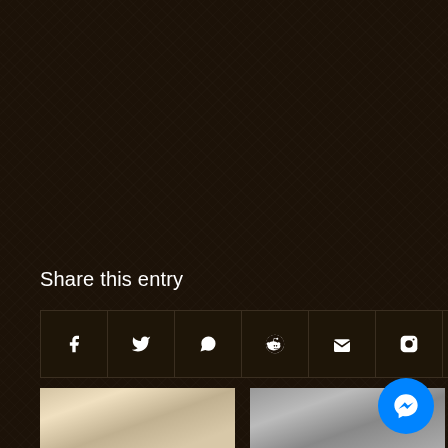Share this entry
[Figure (infographic): Row of 7 social media share icon buttons: Facebook (f), Twitter (bird), WhatsApp, Reddit, Email (envelope), Instagram, YouTube]
You might also like
[Figure (photo): Two thumbnail images at the bottom: left shows a blonde woman, right shows people with baseball caps]
[Figure (other): Blue circular Messenger chat button in bottom-right corner]